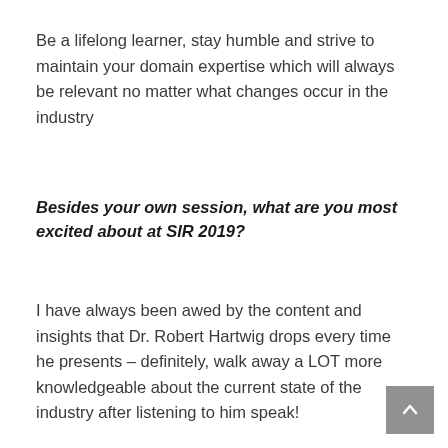Be a lifelong learner, stay humble and strive to maintain your domain expertise which will always be relevant no matter what changes occur in the industry
Besides your own session, what are you most excited about at SIR 2019?
I have always been awed by the content and insights that Dr. Robert Hartwig drops every time he presents – definitely, walk away a LOT more knowledgeable about the current state of the industry after listening to him speak!